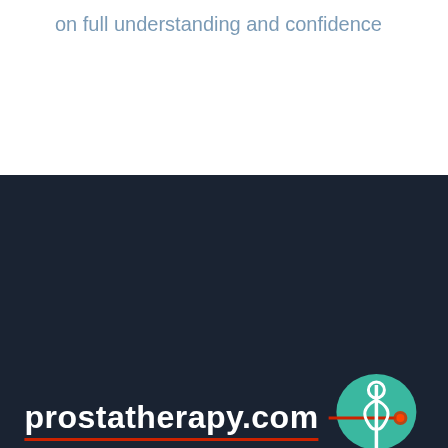on full understanding and confidence
[Figure (logo): Prostatherapy.com logo with teal medical caduceus icon and red laser beam, white text with red underline]
[Figure (illustration): Facebook and YouTube social media icon buttons (dark square buttons)]
[Figure (illustration): Teal circular scroll-to-top button with upward chevron arrow]
Contact
Prostatherapy.com SNC
Route des Acacias 48